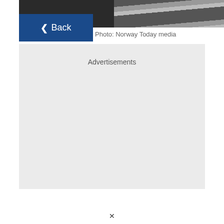[Figure (photo): Partial photo of a person wearing a striped shirt, cropped at top, with a dark background]
[Figure (screenshot): Blue 'Back' navigation button with left arrow chevron]
Photo: Norway Today media
Advertisements
×